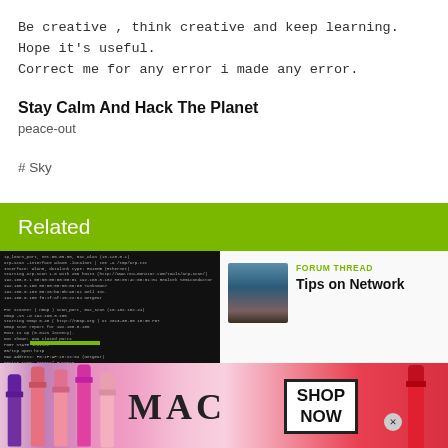Be creative , think creative and keep learning.
Hope it's useful.
Correct me for any error i made any error.
Stay Calm And Hack The Planet
peace-out
#Sky
Related
[Figure (screenshot): Screenshot of a dark terminal/code window with white monospace text and a green highlight bar at the bottom.]
[Figure (photo): Small square photo of a person outdoors.]
FORUM THREAD
Tips on Network
[Figure (photo): MAC cosmetics advertisement banner showing lipsticks in purple, pink, and red colors with MAC logo and SHOP NOW button.]